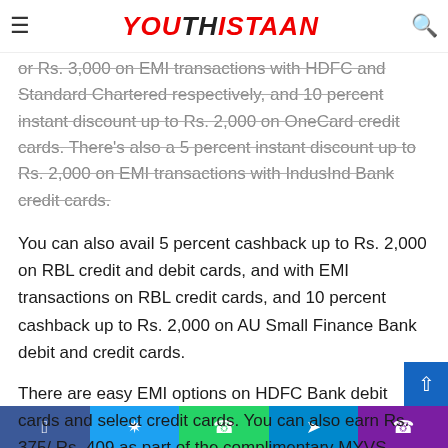Youthistaan
or Rs. 3,000 on EMI transactions with HDFC and Standard Chartered respectively, and 10 percent instant discount up to Rs. 2,000 on OneCard credit cards. There's also a 5 percent instant discount up to Rs. 2,000 on EMI transactions with IndusInd Bank credit cards.
You can also avail 5 percent cashback up to Rs. 2,000 on RBL credit and debit cards, and with EMI transactions on RBL credit cards, and 10 percent cashback up to Rs. 2,000 on AU Small Finance Bank debit and credit cards.
There are easy EMI options on HDFC Bank debit cards and select credit cards. You can also earn Rs. 375/ Rs. 409 as part of the complimentary MYVS Rewards programme.
Buy PlayStation 5 at Vijay Sales
Facebook Twitter WhatsApp Telegram Phone